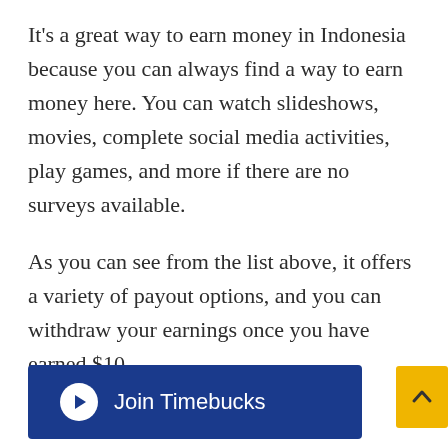It's a great way to earn money in Indonesia because you can always find a way to earn money here. You can watch slideshows, movies, complete social media activities, play games, and more if there are no surveys available.
As you can see from the list above, it offers a variety of payout options, and you can withdraw your earnings once you have earned $10.
[Figure (other): Blue button labeled 'Join Timebucks' with a white circle arrow icon, and a yellow scroll-to-top button with an upward arrow chevron]